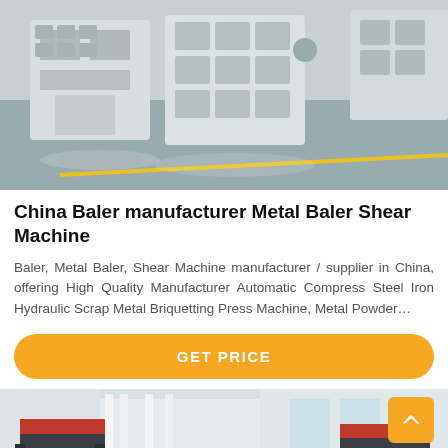[Figure (photo): Factory interior showing large white industrial machinery (metal balers/shear machines) on a grey concrete floor with a yellow line marking]
China Baler manufacturer Metal Baler Shear Machine
Baler, Metal Baler, Shear Machine manufacturer / supplier in China, offering High Quality Manufacturer Automatic Compress Steel Iron Hydraulic Scrap Metal Briquetting Press Machine, Metal Powder…
GET PRICE
[Figure (photo): Outdoor industrial setting showing metal baler/shear machines with red-topped frames against a white building background]
Leave Message
Chat Online